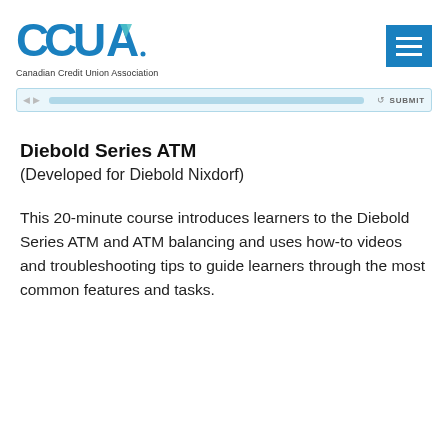[Figure (logo): CCUA - Canadian Credit Union Association logo with teal/blue geometric design]
[Figure (screenshot): Browser navigation bar with progress bar and SUBMIT button]
Diebold Series ATM
(Developed for Diebold Nixdorf)
This 20-minute course introduces learners to the Diebold Series ATM and ATM balancing and uses how-to videos and troubleshooting tips to guide learners through the most common features and tasks.